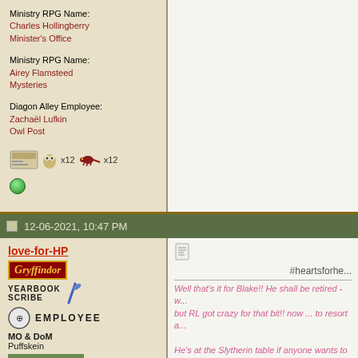Ministry RPG Name:
Charles Hollingberry
Minister's Office

Ministry RPG Name:
Airey Flamsteed
Mysteries

Diagon Alley Employee:
Zachaël Lufkin
Owl Post
[Figure (other): Small icons: a card/image icon, an owl icon with x12, a lizard/salamander icon with x12]
[Figure (other): Green online status indicator dot]
12-06-2021, 10:47 PM
love-for-HP
[Figure (logo): Gryffindor badge/logo in red and gold]
[Figure (logo): Yearbook Scribe badge with quill icon]
[Figure (logo): MO Employee badge with circular seal]
MO & DoM
Puffskein
[Figure (photo): Avatar photo - appears to show a person/scene with green background]
[Figure (other): Small note/document icon]
#heartsforhe...
Well that's it for Blake!! He shall be retired - w... but RL got crazy for that bit!! now ... to resort a...

He's at the Slytherin table if anyone wants to sa...
[Figure (photo): Dark image with Gryffindor lion imagery in red and yellow/gold colors]